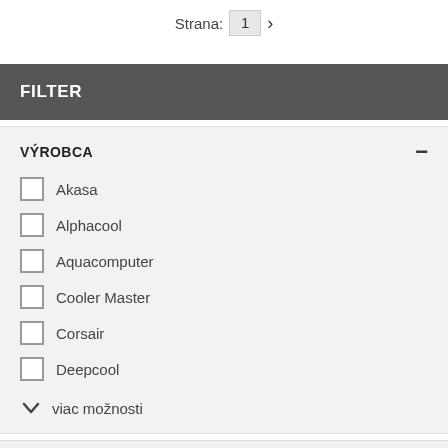Strana: 1 >
FILTER
VÝROBCA
Akasa
Alphacool
Aquacomputer
Cooler Master
Corsair
Deepcool
viac možnosti
CENA
SKLADOVÁ DOSTUPNOSŤ